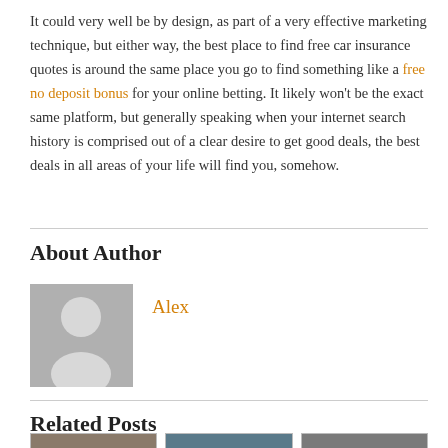It could very well be by design, as part of a very effective marketing technique, but either way, the best place to find free car insurance quotes is around the same place you go to find something like a free no deposit bonus for your online betting. It likely won't be the exact same platform, but generally speaking when your internet search history is comprised out of a clear desire to get good deals, the best deals in all areas of your life will find you, somehow.
About Author
[Figure (illustration): Generic user avatar placeholder image with grey background and white silhouette of a person]
Alex
Related Posts
[Figure (photo): Three thumbnail images for related posts, partially visible at the bottom of the page]